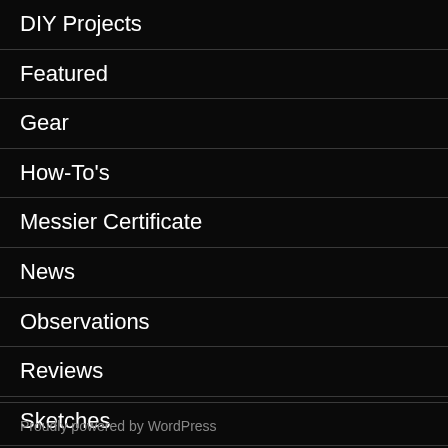DIY Projects
Featured
Gear
How-To's
Messier Certificate
News
Observations
Reviews
Sketches
Tips & Tricks
Proudly powered by WordPress